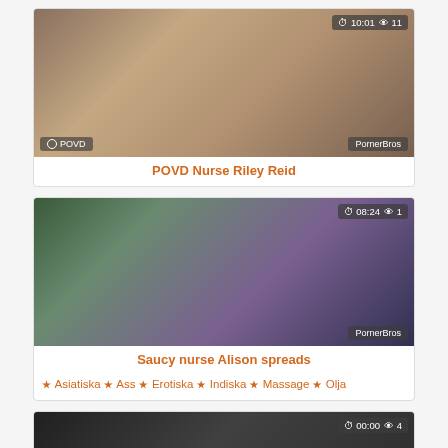[Figure (screenshot): Video thumbnail for POVD Nurse Riley Reid showing duration 10:01 and 11 views, with PornerBros and POVD watermarks]
POVD Nurse Riley Reid
[Figure (screenshot): Video thumbnail for Saucy nurse Alison spreads showing duration 08:24 and 1 view, with PornerBros watermark]
Saucy nurse Alison spreads ♦ Asiatiska ♦ Ass ♦ Erotiska ♦ Indiska ♦ Massage ♦ Olja
[Figure (screenshot): Partial video thumbnail showing duration 00:00 and 4 views]